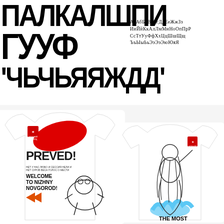[Figure (illustration): Large stylized Cyrillic brush lettering in black on white background, showing multiple rows of bold handwritten Cyrillic characters as a typeface/font specimen display]
АаАбБьВвГгДдЕеЖжЗз ИиЙйКкАлЛмМнНоОпПрР СсТтУуФфХхЦцШшЩщ ЪъЫыЬьЭэЭэЭюЮяЯ
[Figure (photo): Two white t-shirts displayed. Left t-shirt has colorful graphic design with 'PREVED!' text, a red shape, bear illustration, 'WELCOME TO NIZHNY NOVGOROD!' text, orange chevron, and a small logo. Right t-shirt has a figure/mermaid illustration in black and blue, small red logo, and 'THE MOST' text at bottom.]